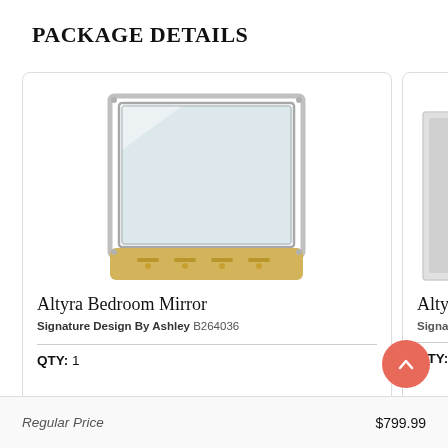PACKAGE DETAILS
[Figure (photo): Altyra Bedroom Mirror product image — a white-framed rectangular wall mirror with gold/brass bottom base tray with drawer handles]
Altyra Bedroom Mirror
Signature Design By Ashley B264036
QTY: 1
[Figure (photo): Altyra product partial image — tall narrow white furniture piece, partially visible at right edge]
Altyra
Signature
QTY: 1
Regular Price
$799.99